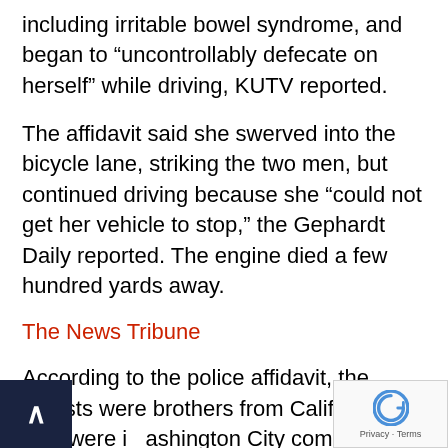including irritable bowel syndrome, and began to “uncontrollably defecate on herself” while driving, KUTV reported.
The affidavit said she swerved into the bicycle lane, striking the two men, but continued driving because she “could not get her vehicle to stop,” the Gephardt Daily reported. The engine died a few hundred yards away.
The News Tribune
According to the police affidavit, the cyclists were brothers from California who were in Washington City competing in a race. An individual who saw the crash said the two were